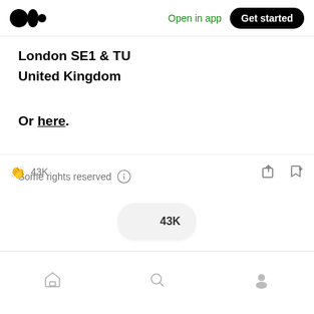Medium app header with logo, Open in app, Get started
London SE1 & TU
United Kingdom
Or here.
Some rights reserved ℹ
[Figure (screenshot): Clap button popup showing 43K claps, a rounded pill-shaped button with clapping hands emoji and 43K label]
43K
Bottom navigation bar with home, search, and profile icons